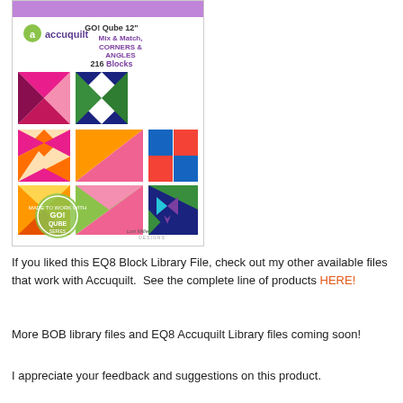[Figure (illustration): Product cover image for AccuQuilt GO! Qube 12 inch Mix & Match, Corners & Angles 216 Blocks by Lori Miller Designs. Shows colorful quilt block patterns in pink, orange, green, navy, and magenta. Includes AccuQuilt logo, GO! Cube logo badge, and Lori Miller Designs signature.]
If you liked this EQ8 Block Library File, check out my other available files that work with Accuquilt.  See the complete line of products HERE!
More BOB library files and EQ8 Accuquilt Library files coming soon!
I appreciate your feedback and suggestions on this product.